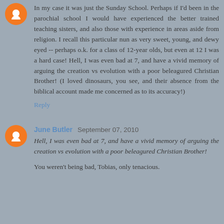In my case it was just the Sunday School. Perhaps if I'd been in the parochial school I would have experienced the better trained teaching sisters, and also those with experience in areas aside from religion. I recall this particular nun as very sweet, young, and dewy eyed -- perhaps o.k. for a class of 12-year olds, but even at 12 I was a hard case! Hell, I was even bad at 7, and have a vivid memory of arguing the creation vs evolution with a poor beleagured Christian Brother! (I loved dinosaurs, you see, and their absence from the biblical account made me concerned as to its accuracy!)
Reply
June Butler  September 07, 2010
Hell, I was even bad at 7, and have a vivid memory of arguing the creation vs evolution with a poor beleagured Christian Brother!
You weren't being bad, Tobias, only tenacious.